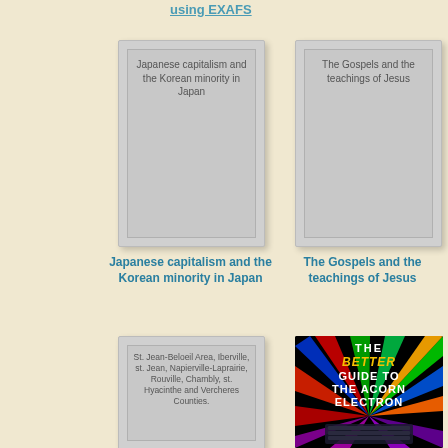using EXAFS
[Figure (illustration): Book cover placeholder for 'Japanese capitalism and the Korean minority in Japan']
Japanese capitalism and the Korean minority in Japan
[Figure (illustration): Book cover placeholder for 'The Gospels and the teachings of Jesus']
The Gospels and the teachings of Jesus
[Figure (illustration): Book cover placeholder for 'St. Jean-Beloeil Area, Iberville, st. Jean, Napierville-Laprairie, Rouville, Chambly, st. Hyacinthe and Vercheres Counties.']
[Figure (photo): Book cover: 'The Better Guide to the Acorn Electron' — black background with colorful starburst rays, keyboard image, bold white and yellow text]